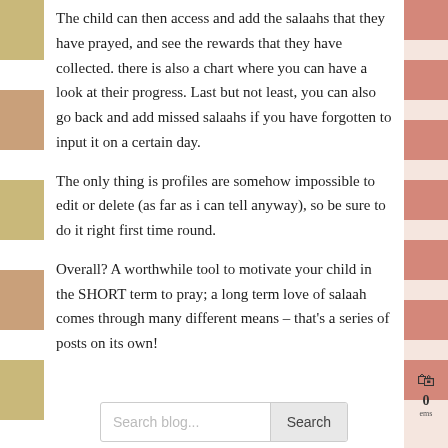The child can then access and add the salaahs that they have prayed, and see the rewards that they have collected. there is also a chart where you can have a look at their progress. Last but not least, you can also go back and add missed salaahs if you have forgotten to input it on a certain day.
The only thing is profiles are somehow impossible to edit or delete (as far as i can tell anyway), so be sure to do it right first time round.
Overall? A worthwhile tool to motivate your child in the SHORT term to pray; a long term love of salaah comes through many different means – that's a series of posts on its own!